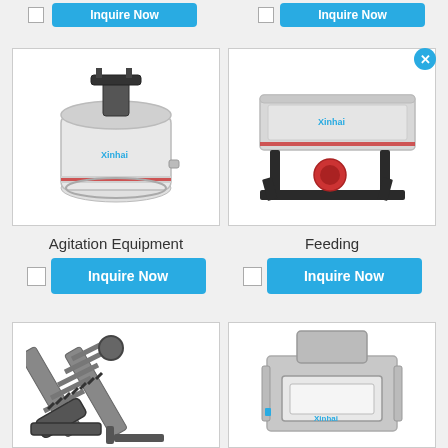[Figure (illustration): Agitation Equipment – cylindrical white tank with top mechanism, Xinhai branded]
[Figure (illustration): Feeding equipment – rectangular vibrating feeder on black stand, Xinhai branded, with close button]
Agitation Equipment
Feeding
[Figure (illustration): Conveyor belt – inclined ladder/conveyor equipment]
[Figure (illustration): Grey box-shaped equipment with rectangular opening, Xinhai branded]